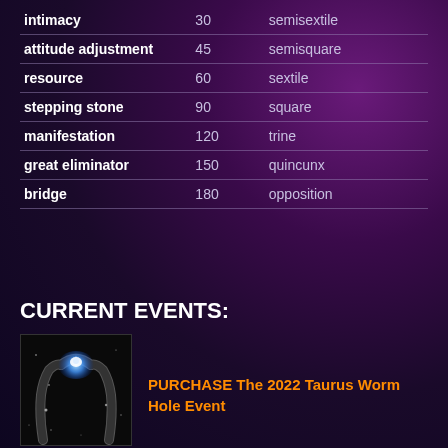|  |  |  |
| --- | --- | --- |
| intimacy | 30 | semisextile |
| attitude adjustment | 45 | semisquare |
| resource | 60 | sextile |
| stepping stone | 90 | square |
| manifestation | 120 | trine |
| great eliminator | 150 | quincunx |
| bridge | 180 | opposition |
CURRENT EVENTS:
[Figure (illustration): A dark stone arch or wormhole-like structure with blue glowing light at the top center, floating in dark space with small star-like dots]
PURCHASE The 2022 Taurus Worm Hole Event